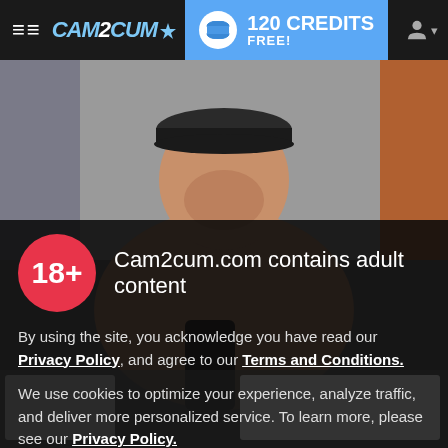CAM2CUM — 120 CREDITS FREE!
[Figure (photo): Shirtless young man taking a mirror selfie in a locker room, wearing a cap, background shows lockers and tiles. Dark overlay on lower portion.]
Cam2cum.com contains adult content
By using the site, you acknowledge you have read our Privacy Policy, and agree to our Terms and Conditions.
We use cookies to optimize your experience, analyze traffic, and deliver more personalized service. To learn more, please see our Privacy Policy.
I AGREE